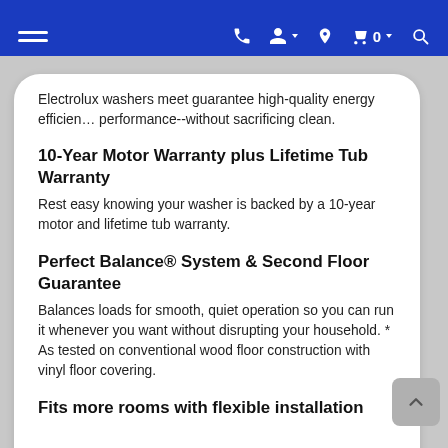Navigation bar with hamburger menu, phone, account, location, cart (0), and search icons
Electrolux washers meet guarantee high-quality energy efficiency performance--without sacrificing clean.
10-Year Motor Warranty plus Lifetime Tub Warranty
Rest easy knowing your washer is backed by a 10-year motor and lifetime tub warranty.
Perfect Balance® System & Second Floor Guarantee
Balances loads for smooth, quiet operation so you can run it whenever you want without disrupting your household. * As tested on conventional wood floor construction with vinyl floor covering.
Fits more rooms with flexible installation